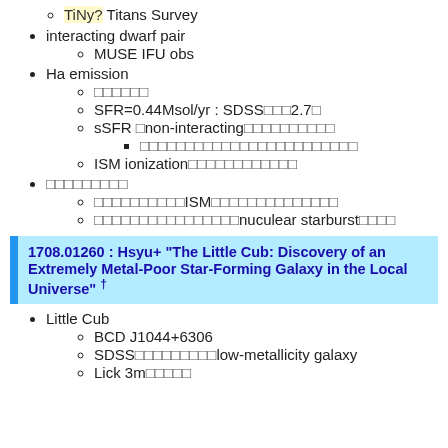TiNy? Titans Survey
interacting dwarf pair
MUSE IFU obs
Ha emission
□□□□□□
SFR=0.44Msol/yr : SDSS□□□2.7□
sSFR □non-interacting□□□□□□□□□□
□□□□□□□□□□□□□□□□□□□□□□□□
ISM ionization□□□□□□□□□□□□
□□□□□□□□□
□□□□□□□□□□ISM□□□□□□□□□□□□□□
□□□□□□□□□□□□□□□□nuculear starburst□□□□
1708.01260 : Hsyu+ "The Little Cub: Discovery of an Extremely Metal-Poor Star-Forming Galaxy in the Local Universe" †
Little Cub
BCD J1044+6306
SDSS□□□□□□□□□low-metallicity galaxy
Lick 3m□□□□□